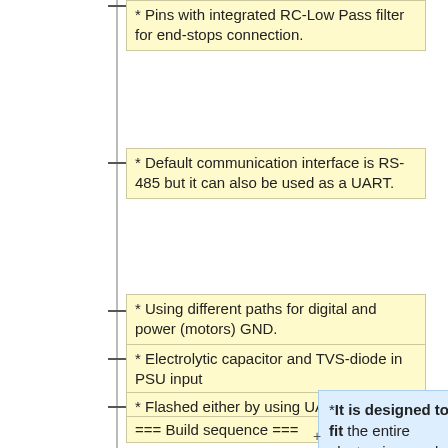* Pins with integrated RC-Low Pass filter for end-stops connection.
* Default communication interface is RS-485 but it can also be used as a UART.
* Using different paths for digital and power (motors) GND.
* Electrolytic capacitor and TVS-diode in PSU input
* Flashed either by using UART or ISP header
=== Build sequence ===
*It is designed to fit the entire electronics needed to control rotator in